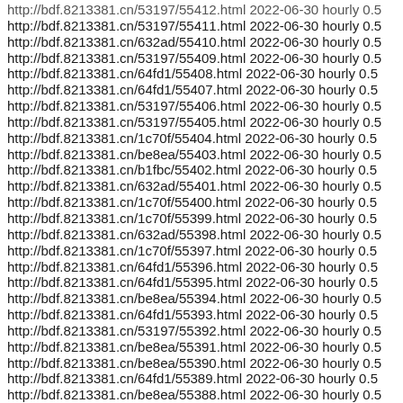http://bdf.8213381.cn/53197/55412.html 2022-06-30 hourly 0.5
http://bdf.8213381.cn/53197/55411.html 2022-06-30 hourly 0.5
http://bdf.8213381.cn/632ad/55410.html 2022-06-30 hourly 0.5
http://bdf.8213381.cn/53197/55409.html 2022-06-30 hourly 0.5
http://bdf.8213381.cn/64fd1/55408.html 2022-06-30 hourly 0.5
http://bdf.8213381.cn/64fd1/55407.html 2022-06-30 hourly 0.5
http://bdf.8213381.cn/53197/55406.html 2022-06-30 hourly 0.5
http://bdf.8213381.cn/53197/55405.html 2022-06-30 hourly 0.5
http://bdf.8213381.cn/1c70f/55404.html 2022-06-30 hourly 0.5
http://bdf.8213381.cn/be8ea/55403.html 2022-06-30 hourly 0.5
http://bdf.8213381.cn/b1fbc/55402.html 2022-06-30 hourly 0.5
http://bdf.8213381.cn/632ad/55401.html 2022-06-30 hourly 0.5
http://bdf.8213381.cn/1c70f/55400.html 2022-06-30 hourly 0.5
http://bdf.8213381.cn/1c70f/55399.html 2022-06-30 hourly 0.5
http://bdf.8213381.cn/632ad/55398.html 2022-06-30 hourly 0.5
http://bdf.8213381.cn/1c70f/55397.html 2022-06-30 hourly 0.5
http://bdf.8213381.cn/64fd1/55396.html 2022-06-30 hourly 0.5
http://bdf.8213381.cn/64fd1/55395.html 2022-06-30 hourly 0.5
http://bdf.8213381.cn/be8ea/55394.html 2022-06-30 hourly 0.5
http://bdf.8213381.cn/64fd1/55393.html 2022-06-30 hourly 0.5
http://bdf.8213381.cn/53197/55392.html 2022-06-30 hourly 0.5
http://bdf.8213381.cn/be8ea/55391.html 2022-06-30 hourly 0.5
http://bdf.8213381.cn/be8ea/55390.html 2022-06-30 hourly 0.5
http://bdf.8213381.cn/64fd1/55389.html 2022-06-30 hourly 0.5
http://bdf.8213381.cn/be8ea/55388.html 2022-06-30 hourly 0.5
http://bdf.8213381.cn/1c70f/55387.html 2022-06-30 hourly 0.5